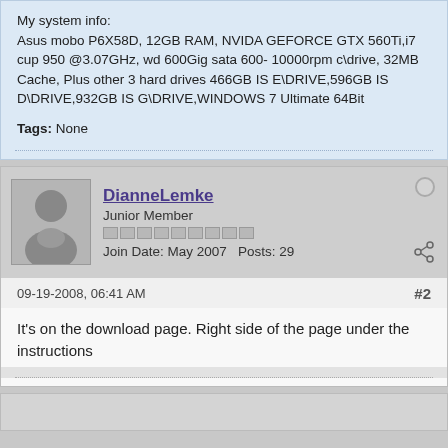My system info:
Asus mobo P6X58D, 12GB RAM, NVIDA GEFORCE GTX 560Ti,i7 cup 950 @3.07GHz, wd 600Gig sata 600- 10000rpm c\drive, 32MB Cache, Plus other 3 hard drives 466GB IS E\DRIVE,596GB IS D\DRIVE,932GB IS G\DRIVE,WINDOWS 7 Ultimate 64Bit
Tags: None
DianneLemke
Junior Member
Join Date: May 2007   Posts: 29
09-19-2008, 06:41 AM
#2
It's on the download page. Right side of the page under the instructions